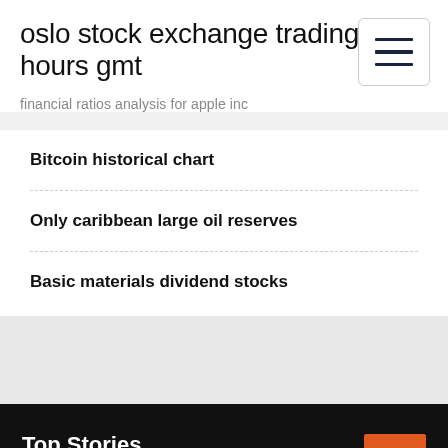oslo stock exchange trading hours gmt
financial ratios analysis for apple inc
Bitcoin historical chart
Only caribbean large oil reserves
Basic materials dividend stocks
Top Stories